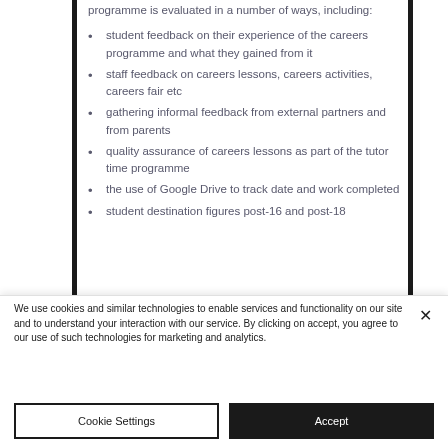programme is evaluated in a number of ways, including:
student feedback on their experience of the careers programme and what they gained from it
staff feedback on careers lessons, careers activities, careers fair etc
gathering informal feedback from external partners and from parents
quality assurance of careers lessons as part of the tutor time programme
the use of Google Drive to track date and work completed
student destination figures post-16 and post-18
We use cookies and similar technologies to enable services and functionality on our site and to understand your interaction with our service. By clicking on accept, you agree to our use of such technologies for marketing and analytics.